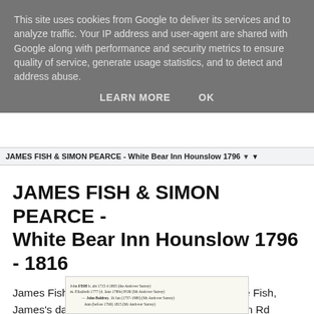This site uses cookies from Google to deliver its services and to analyze traffic. Your IP address and user-agent are shared with Google along with performance and security metrics to ensure quality of service, generate usage statistics, and to detect and address abuse.
LEARN MORE   OK
JAMES FISH & SIMON PEARCE - White Bear Inn Hounslow 1796 ▼
JAMES FISH & SIMON PEARCE - White Bear Inn Hounslow 1796 - 1816
James Fish and Simon Pearce & wife Sarah (nee Fish, James's daughter) ran the White Bear Inn London Rd Hounslow 1795 to 1816. Simon bought 33% of the total shares in the White Bear Inn in 1809.  See documents below:
[Figure (other): Partial view of a genealogical document showing family tree entries with names and dates, partially visible at the bottom of the page.]